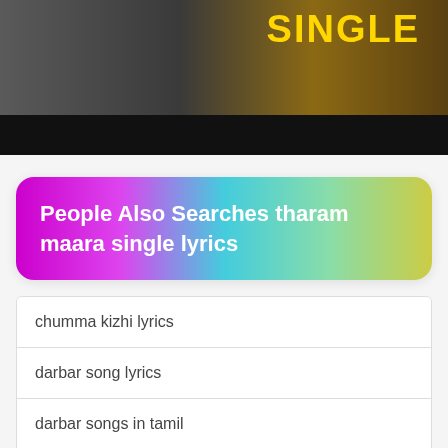[Figure (photo): Movie promotional image with a person in light suit on dark background, with 'SINGLE' text in yellow on right side, JIVO logo/badge in bottom left]
People Also Searches tharam maara single lyrics
chumma kizhi lyrics
darbar song lyrics
darbar songs in tamil
darbar songs